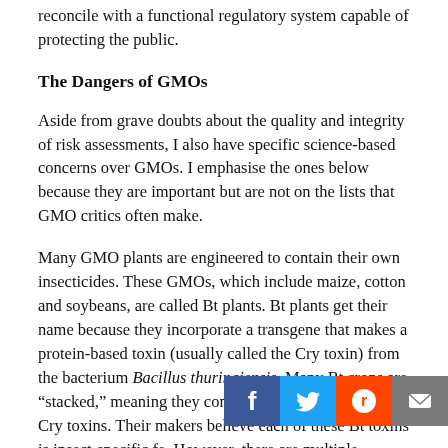reconcile with a functional regulatory system capable of protecting the public.
The Dangers of GMOs
Aside from grave doubts about the quality and integrity of risk assessments, I also have specific science-based concerns over GMOs. I emphasise the ones below because they are important but are not on the lists that GMO critics often make.
Many GMO plants are engineered to contain their own insecticides. These GMOs, which include maize, cotton and soybeans, are called Bt plants. Bt plants get their name because they incorporate a transgene that makes a protein-based toxin (usually called the Cry toxin) from the bacterium Bacillus thuringiensis. Many Bt crops are “stacked,” meaning they contain a multiplicity of these Cry toxins. Their makers believe each of these Bt toxins is insect-specific fe. However, there are multiple reasons to doubt both